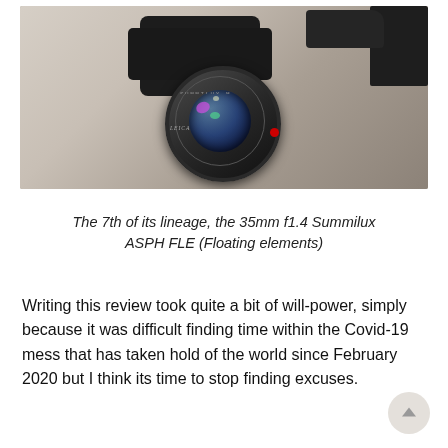[Figure (photo): Close-up overhead photo of a Leica 35mm f1.4 Summilux ASPH FLE camera lens with lens hood attached, placed on a light wood surface. A dark camera body is partially visible in the top right corner.]
The 7th of its lineage, the 35mm f1.4 Summilux ASPH FLE (Floating elements)
Writing this review took quite a bit of will-power, simply because it was difficult finding time within the Covid-19 mess that has taken hold of the world since February 2020 but I think its time to stop finding excuses.